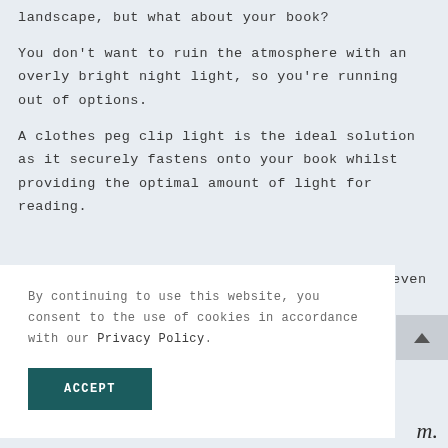landscape, but what about your book?
You don't want to ruin the atmosphere with an overly bright night light, so you're running out of options.
A clothes peg clip light is the ideal solution as it securely fastens onto your book whilst providing the optimal amount of light for reading.
By continuing to use this website, you consent to the use of cookies in accordance with our Privacy Policy.
ACCEPT
even
m.